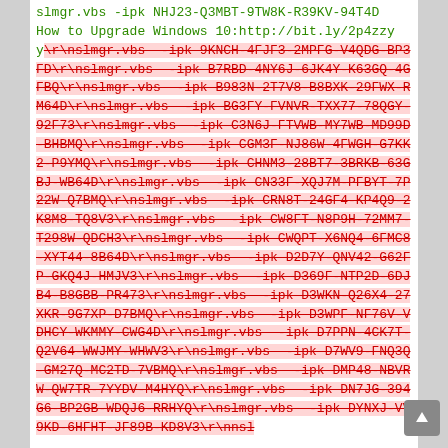slmgr.vbs -ipk NHJ23-Q3MBT-9TW8K-R39KV-94T4D
How to Upgrade Windows 10:http://bit.ly/2p4zzy
y\r\nslmgr.vbs -ipk 9KNCH-4FJF3-2MPFG-V4QDG-BP3FD\r\nslmgr.vbs -ipk B7RBD-4NY6J-6JK4Y-K63GQ-4GFBQ\r\nslmgr.vbs -ipk B983N-2T7V8-B8BXK-29FWX-RM64D\r\nslmgr.vbs -ipk BG3FY-FVNVR-TXX77-78QGY-92F73\r\nslmgr.vbs -ipk C3N6J-FTVWB-MY7WB-MD99D-BHBMQ\r\nslmgr.vbs -ipk CGM3F-NJ86W-4FWG H-G7KK2-P9YMQ\r\nslmgr.vbs -ipk CHNM3-28BT7-3BRKB-63GBJ-WB64D\r\nslmgr.vbs -ipk CN33F-XQJ7M-PFBYT-7P22W-Q7BMQ\r\nslmgr.vbs -ipk CRN8T-24GF4-KP4Q9-2K8M8-TQ8V3\r\nslmgr.vbs -ipk CW8FT-N8P9H-72MM7-T298W-QDCH3\r\nslmgr.vbs -ipk CWQPT-X6NQ4-6FMC8-XYT44-8B64D\r\nslmgr.vbs -ipk D2D7Y-QNV42-G62FP-GKQ4J-HMJV3\r\nslmgr.vbs -ipk D369F-NTP2D-6DJB4-B8GBB-PR473\r\nslmgr.vbs -ipk D3WKN-Q26X4-27XKR-9G7XP-D7BMQ\r\nslmgr.vbs -ipk D3WPF-NF76V-VDHCY-WKMMY-CWG4D\r\nslmgr.vbs -ipk D7PPN-4CK7T-Q2V64-WWJMY-WHWV3\r\nslmgr.vbs -ipk D7WV9-FNQ3Q-GM27Q-MC2TD-7VBMQ\r\nslmgr.vbs -ipk DMP48-NBVRW-QW7TR-7YYDV-M4HYQ\r\nslmgr.vbs -ipk DN7JG-394G6-BP2GB-WDQJ6-RRHYQ\r\nslmgr.vbs -ipk DYNXJ-VV9KD-6HFHT-JF89B-KD8V3\r\nsl